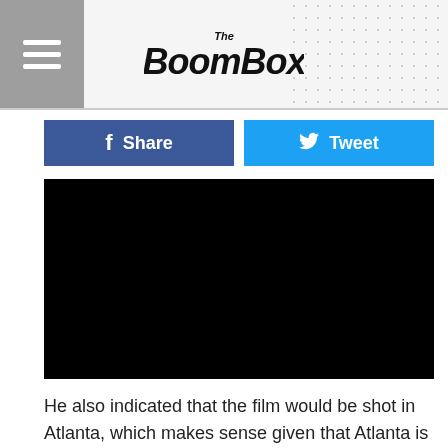The BoomBox
[Figure (screenshot): Black video player embed area]
He also indicated that the film would be shot in Atlanta, which makes sense given that Atlanta is the third largest market for film production, behind Los Angeles and New